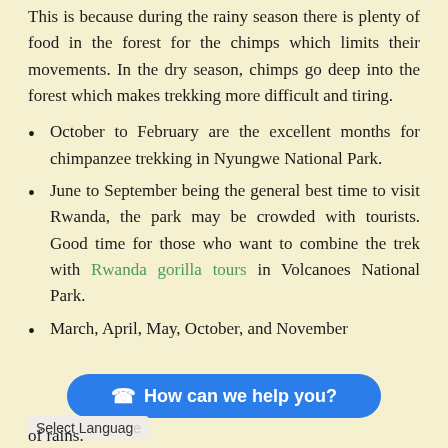This is because during the rainy season there is plenty of food in the forest for the chimps which limits their movements. In the dry season, chimps go deep into the forest which makes trekking more difficult and tiring.
October to February are the excellent months for chimpanzee trekking in Nyungwe National Park.
June to September being the general best time to visit Rwanda, the park may be crowded with tourists. Good time for those who want to combine the trek with Rwanda gorilla tours in Volcanoes National Park.
March, April, May, October, and November
of rains.
Select Language
How can we help you?